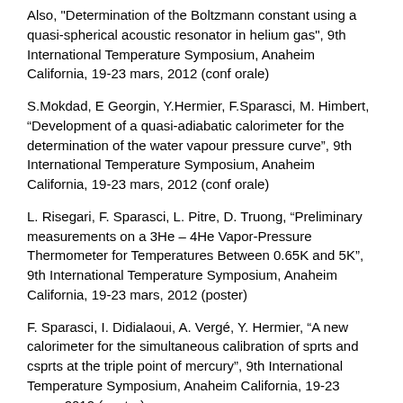Also, "Determination of the Boltzmann constant using a quasi-spherical acoustic resonator in helium gas", 9th International Temperature Symposium, Anaheim California, 19-23 mars, 2012 (conf orale)
S.Mokdad, E Georgin, Y.Hermier, F.Sparasci, M. Himbert, “Development of a quasi-adiabatic calorimeter for the determination of the water vapour pressure curve”, 9th International Temperature Symposium, Anaheim California, 19-23 mars, 2012 (conf orale)
L. Risegari, F. Sparasci, L. Pitre, D. Truong, “Preliminary measurements on a 3He – 4He Vapor-Pressure Thermometer for Temperatures Between 0.65K and 5K”, 9th International Temperature Symposium, Anaheim California, 19-23 mars, 2012 (poster)
F. Sparasci, I. Didialaoui, A. Vergé, Y. Hermier, “A new calorimeter for the simultaneous calibration of sprts and csprts at the triple point of mercury”, 9th International Temperature Symposium, Anaheim California, 19-23 mars, 2012 (poster)
J. Fischer, B. Fellmuth, C. Gaiser, T. Zandt, L. Pitre, S. Briaudeau, F. Sparasci, D. Truong, Y. Hermier, et al, “The imeraplus joint research project for determinations of the boltzmann constant”, 9th International Temperature Symposium, Anaheim California, 19-23 mars, 2012 (poster)